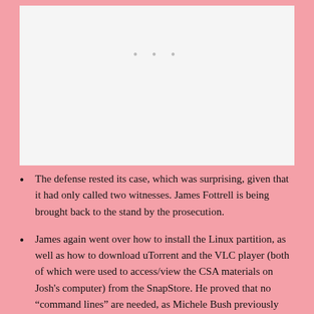[Figure (other): Large white/light gray image placeholder area with three centered gray dots near the top]
The defense rested its case, which was surprising, given that it had only called two witnesses. James Fottrell is being brought back to the stand by the prosecution.
James again went over how to install the Linux partition, as well as how to download uTorrent and the VLC player (both of which were used to access/view the CSA materials on Josh's computer) from the SnapStore. He proved that no “command lines” are needed, as Michele Bush previously stated.